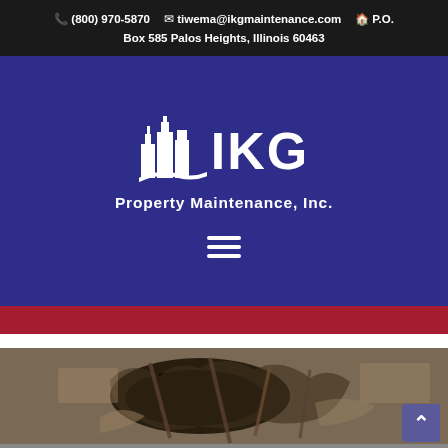(800) 970-5870  tiwema@ikgmaintenance.com  P.O. Box 585 Palos Heights, Illinois 60463
[Figure (logo): IKG Property Maintenance, Inc. logo — white building/city skyline icon with swoosh, large white IKG text, subtitle 'Property Maintenance, Inc.' on dark blue background]
[Figure (photo): Photo of damaged ceiling or roof structure showing deterioration, exposed materials, and structural damage — partially visible]